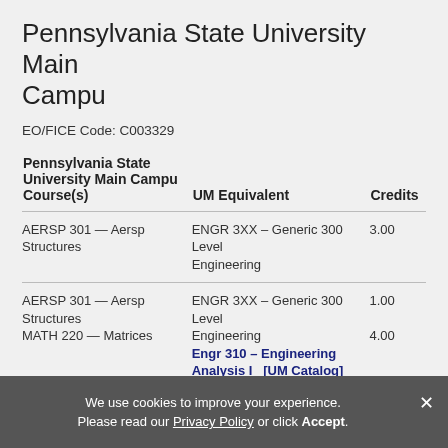Pennsylvania State University Main Campu
EO/FICE Code: C003329
| Pennsylvania State University Main Campu Course(s) | UM Equivalent | Credits |
| --- | --- | --- |
| AERSP 301 — Aersp Structures | ENGR 3XX – Generic 300 Level Engineering | 3.00 |
| AERSP 301 — Aersp Structures
MATH 220 — Matrices | ENGR 3XX – Generic 300 Level Engineering
Engr 310 – Engineering Analysis I  [UM Catalog] | 1.00
4.00 |
| AERSP 304 — Sys Dyns and Cont | M E 3XX – Generic 300 Level Mechanical Engineering | 3.00 |
We use cookies to improve your experience. Please read our Privacy Policy or click Accept.